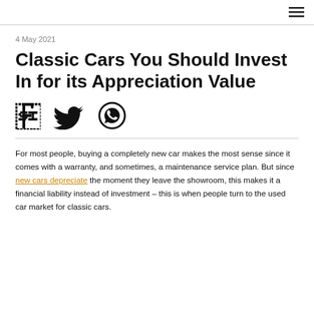≡
4 May 2021
Classic Cars You Should Invest In for its Appreciation Value
[Figure (infographic): Social share icons: Facebook, Twitter, WhatsApp]
For most people, buying a completely new car makes the most sense since it comes with a warranty, and sometimes, a maintenance service plan. But since new cars depreciate the moment they leave the showroom, this makes it a financial liability instead of investment – this is when people turn to the used car market for classic cars.